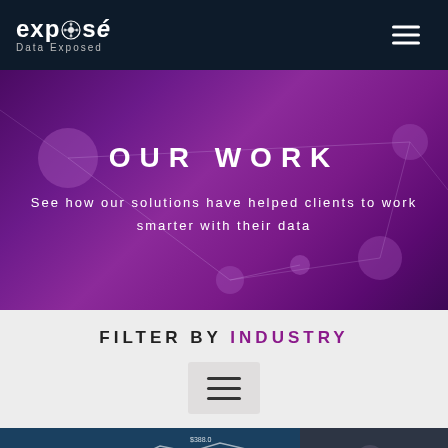exposé Data Exposed — navigation bar with hamburger menu
OUR WORK
See how our solutions have helped clients to work smarter with their data
FILTER BY INDUSTRY
[Figure (other): Filter button / hamburger menu icon on light grey background]
[Figure (photo): Financial data chart image strip showing line charts and numbers on dark teal background]